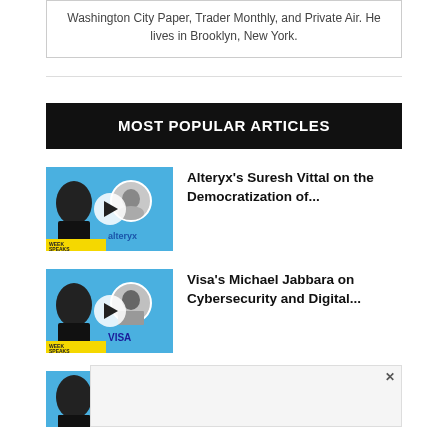Washington City Paper, Trader Monthly, and Private Air. He lives in Brooklyn, New York.
MOST POPULAR ARTICLES
[Figure (photo): Thumbnail image for Alteryx podcast episode with play button overlay, Week Speaks branding, blue background]
Alteryx's Suresh Vittal on the Democratization of...
[Figure (photo): Thumbnail image for Visa podcast episode with play button overlay, Week Speaks branding, VISA logo, blue background]
Visa's Michael Jabbara on Cybersecurity and Digital...
[Figure (photo): Partial thumbnail image for third podcast episode, blue background]
and...